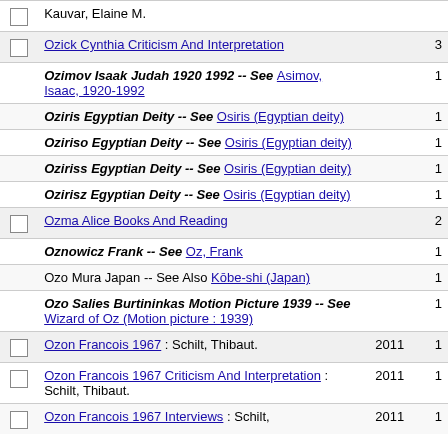|  | Entry | Year | Count |
| --- | --- | --- | --- |
| ☐ | Kauvar, Elaine M. |  |  |
| ☐ | Ozick Cynthia Criticism And Interpretation |  | 3 |
|  | Ozimov Isaak Judah 1920 1992 -- See Asimov, Isaac, 1920-1992 |  | 1 |
|  | Oziris Egyptian Deity -- See Osiris (Egyptian deity) |  | 1 |
|  | Oziriso Egyptian Deity -- See Osiris (Egyptian deity) |  | 1 |
|  | Oziriss Egyptian Deity -- See Osiris (Egyptian deity) |  | 1 |
|  | Ozirisz Egyptian Deity -- See Osiris (Egyptian deity) |  | 1 |
| ☐ | Ozma Alice Books And Reading |  | 2 |
|  | Oznowicz Frank -- See Oz, Frank |  | 1 |
|  | Ozo Mura Japan -- See Also Kōbe-shi (Japan) |  | 1 |
|  | Ozo Salies Burtininkas Motion Picture 1939 -- See Wizard of Oz (Motion picture : 1939) |  | 1 |
| ☐ | Ozon Francois 1967 : Schilt, Thibaut. | 2011 | 1 |
| ☐ | Ozon Francois 1967 Criticism And Interpretation : Schilt, Thibaut. | 2011 | 1 |
| ☐ | Ozon Francois 1967 Interviews : Schilt, | 2011 | 1 |